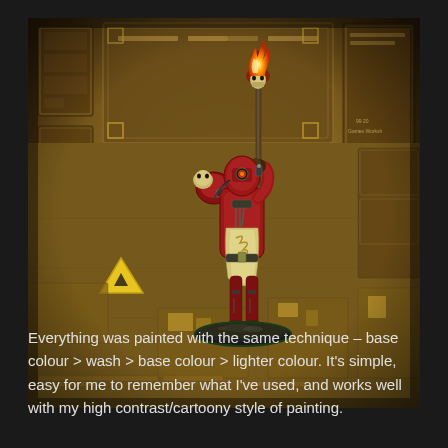[Figure (photo): A painted miniature figure (appears to be a Warhammer 40k Tech-Priest or similar character) wearing red robes and holding a tall staff topped with a flaming skull/torch. The miniature is mounted on a round base and photographed on a game board/mat with a brown industrial/sci-fi aesthetic featuring yellow hazard markings and mechanical details.]
Everything was painted with the same technique – base colour > wash > base colour > lighter colour. It's simple, easy for me to remember what I've used, and works well with my high contrast/cartoony style of painting.